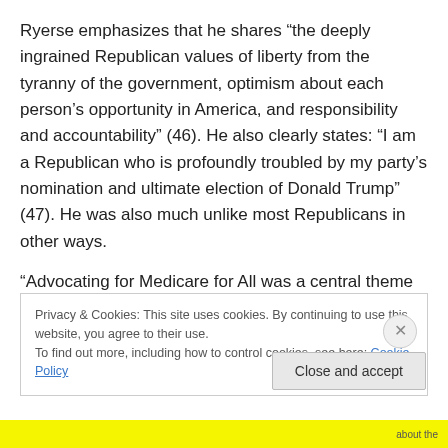Ryerse emphasizes that he shares “the deeply ingrained Republican values of liberty from the tyranny of the government, optimism about each person’s opportunity in America, and responsibility and accountability” (46). He also clearly states: “I am a Republican who is profoundly troubled by my party’s nomination and ultimate election of Donald Trump” (47). He was also much unlike most Republicans in other ways.
“Advocating for Medicare for All was a central theme of my campaign. I had to take this position for moral reasons”
Privacy & Cookies: This site uses cookies. By continuing to use this website, you agree to their use.
To find out more, including how to control cookies, see here: Cookie Policy